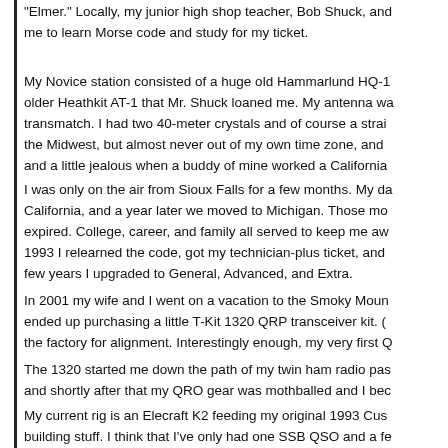"Elmer." Locally, my junior high shop teacher, Bob Shuck, and me to learn Morse code and study for my ticket.
My Novice station consisted of a huge old Hammarlund HQ-1 older Heathkit AT-1 that Mr. Shuck loaned me. My antenna wa transmatch. I had two 40-meter crystals and of course a strai the Midwest, but almost never out of my own time zone, and and a little jealous when a buddy of mine worked a California
I was only on the air from Sioux Falls for a few months. My da California, and a year later we moved to Michigan. Those mo expired. College, career, and family all served to keep me aw 1993 I relearned the code, got my technician-plus ticket, and few years I upgraded to General, Advanced, and Extra.
In 2001 my wife and I went on a vacation to the Smoky Moun ended up purchasing a little T-Kit 1320 QRP transceiver kit. ( the factory for alignment. Interestingly enough, my very first Q
The 1320 started me down the path of my twin ham radio pas and shortly after that my QRO gear was mothballed and I bec
My current rig is an Elecraft K2 feeding my original 1993 Cus building stuff. I think that I've only had one SSB QSO and a fe paddle on a regular basis and sometimes hook up a vintage k